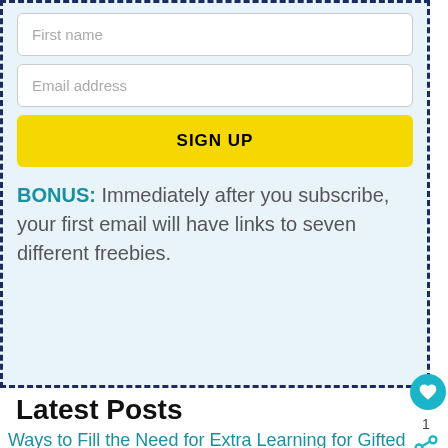[Figure (screenshot): Input field with placeholder text 'First name']
[Figure (screenshot): Input field with placeholder text 'Email address']
[Figure (screenshot): Yellow button labeled 'SIGN UP']
BONUS: Immediately after you subscribe, your first email will have links to seven different freebies.
Latest Posts
Ways to Fill the Need for Extra Learning for Gifted
[Figure (screenshot): Advertisement banner with text '#FlattenTheCurve' and image of hands washing]